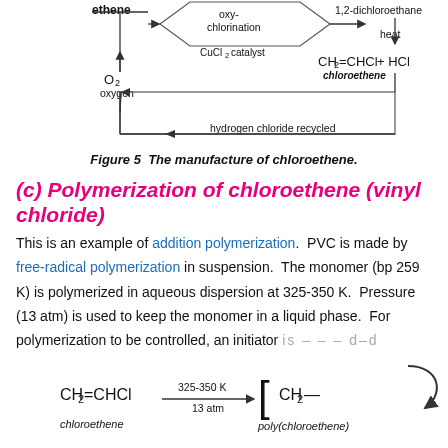[Figure (schematic): Top portion of a flowchart showing the manufacture of chloroethene: ethene and oxygen react via oxy-chlorination with CuCl2 catalyst to give 1,2-dichloroethane, which on heating gives CH2=CHCl (chloroethene) + HCl, with hydrogen chloride recycled back.]
Figure 5  The manufacture of chloroethene.
(c) Polymerization of chloroethene (vinyl chloride)
This is an example of addition polymerization. PVC is made by free-radical polymerization in suspension.  The monomer (bp 259 K) is polymerized in aqueous dispersion at 325-350 K.  Pressure (13 atm) is used to keep the monomer in a liquid phase.  For polymerization to be controlled, an initiator is needed
[Figure (schematic): Chemical equation showing CH2=CHCl (chloroethene) reacting at 325-350 K, 13 atm to form poly(chloroethene) bracket with CH2- unit, with a recycling arrow.]